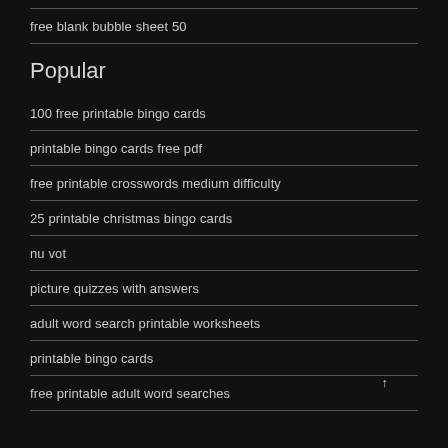free blank bubble sheet 50
Popular
100 free printable bingo cards
printable bingo cards free pdf
free printable crosswords medium difficulty
25 printable christmas bingo cards
nu vot
picture quizzes with answers
adult word search printable worksheets
printable bingo cards
free printable adult word searches